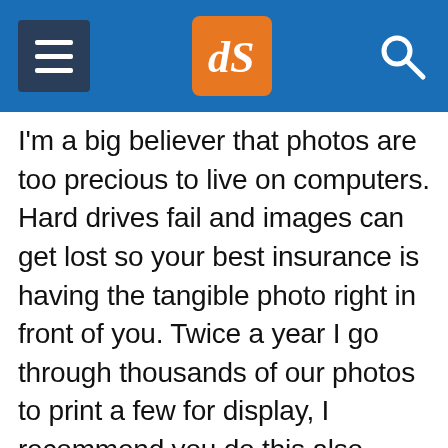dPS navigation header
I'm a big believer that photos are too precious to live on computers. Hard drives fail and images can get lost so your best insurance is having the tangible photo right in front of you. Twice a year I go through thousands of our photos to print a few for display, I recommend you do this also.
[Figure (photo): A collage of printed photos displayed on a wall or easel, showing black-and-white and color portrait photographs]